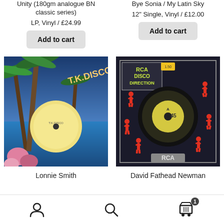Unity (180gm analogue BN classic series)
LP, Vinyl / £24.99
Add to cart
Bye Sonia / My Latin Sky
12" Single, Vinyl / £12.00
Add to cart
[Figure (photo): T.K. Disco vinyl record album cover with tropical beach scene, palm trees, flowers, and a yellow vinyl record label]
Lonnie Smith
[Figure (photo): RCA Disco Direction vinyl single record cover with dark background, red dancing silhouettes, yellow RCA label, and '45' marking]
David Fathead Newman
Navigation bar with user, search, and cart (1 item) icons